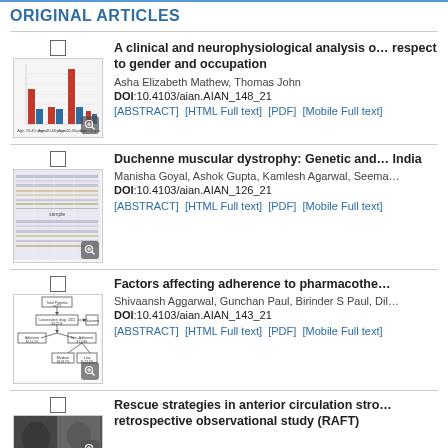ORIGINAL ARTICLES
[Figure (bar-chart): Bar chart thumbnail showing grouped bars across age groups, red and blue bars]
A clinical and neurophysiological analysis of … respect to gender and occupation
Asha Elizabeth Mathew, Thomas John
DOI:10.4103/aian.AIAN_148_21
[ABSTRACT]  [HTML Full text]  [PDF]  [Mobile Full text]
[Figure (other): Medical/scientific gel electrophoresis or waveform image thumbnail]
Duchenne muscular dystrophy: Genetic and … India
Manisha Goyal, Ashok Gupta, Kamlesh Agarwal, Seema…
DOI:10.4103/aian.AIAN_126_21
[ABSTRACT]  [HTML Full text]  [PDF]  [Mobile Full text]
[Figure (flowchart): Flowchart showing adherence decision tree with boxes and arrows]
Factors affecting adherence to pharmacothe…
Shivaansh Aggarwal, Gunchan Paul, Birinder S Paul, Dil…
DOI:10.4103/aian.AIAN_143_21
[ABSTRACT]  [HTML Full text]  [PDF]  [Mobile Full text]
[Figure (photo): Medical image thumbnail (stroke/brain scan or patient photo)]
Rescue strategies in anterior circulation stro… retrospective observational study (RAFT)